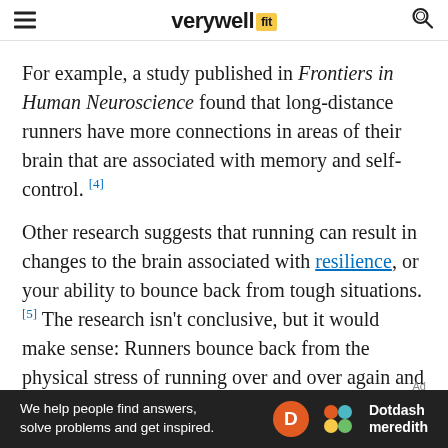verywell fit
For example, a study published in Frontiers in Human Neuroscience found that long-distance runners have more connections in areas of their brain that are associated with memory and self-control. [4]
Other research suggests that running can result in changes to the brain associated with resilience, or your ability to bounce back from tough situations. [5] The research isn't conclusive, but it would make sense: Runners bounce back from the physical stress of running over and over again and tend to have a lot of determination and willpower.
In animals, running has been shown to actually
[Figure (infographic): Dotdash Meredith advertisement banner: 'We help people find answers, solve problems and get inspired.' with Dotdash Meredith logo]